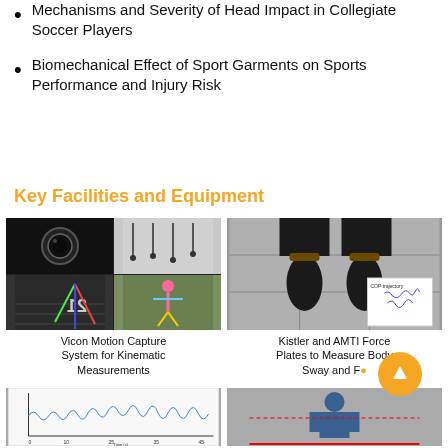Mechanisms and Severity of Head Impact in Collegiate Soccer Players
Biomechanical Effect of Sport Garments on Sports Performance and Injury Risk
Key Facilities and Equipment
[Figure (photo): Vicon motion capture system collage: camera close-up, lab with hanging markers, calibration wand, 3D avatar rendering]
Vicon Motion Capture System for Kinematic Measurements
[Figure (photo): Kistler and AMTI force plates showing person standing on tiled floor from above, with inset COP trajectory plot]
Kistler and AMTI Force Plates to Measure Body Sway and Force
[Figure (photo): Signal/waveform data chart showing time-series biomechanical measurement]
[Figure (photo): Person standing in front of measurement apparatus in a lab setting]